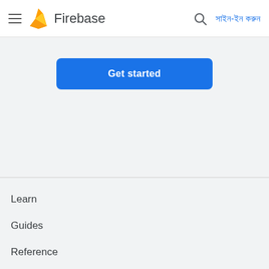Firebase - সাইন-ইন করুন
Get started
Learn
Guides
Reference
Samples